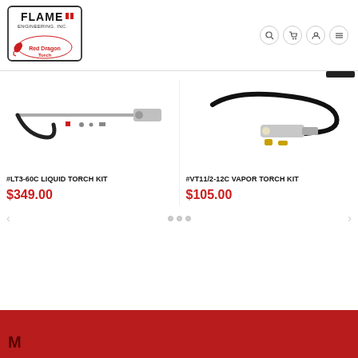[Figure (logo): Flame Engineering Inc. logo with Red Dragon Torch dragon illustration]
[Figure (photo): Product photo of #LT3-60C Liquid Torch Kit showing long metal wand with hose and fittings]
#LT3-60C LIQUID TORCH KIT
$349.00
[Figure (photo): Product photo of #VT11/2-12C Vapor Torch Kit showing torch with coiled black hose and brass fittings]
#VT11/2-12C VAPOR TORCH KIT
$105.00